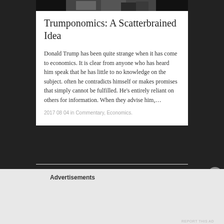[Figure (photo): Black and white photo of people in suits, partially cropped at top]
Trumponomics: A Scatterbrained Idea
Donald Trump has been quite strange when it has come to economics. It is clear from anyone who has heard him speak that he has little to no knowledge on the subject. often he contradicts himself or makes promises that simply cannot be fulfilled. He’s entirely reliant on others for information. When they advise him,…
2017 08 04 in Commentary, Economics.
Advertisements